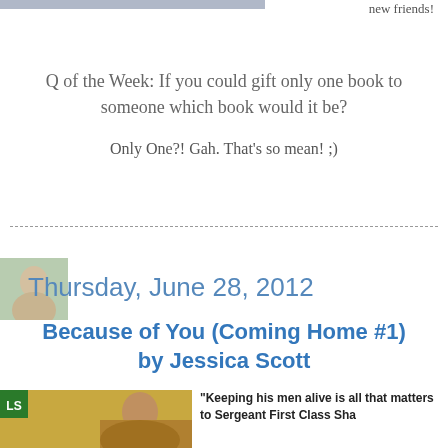new friends!
Q of the Week: If you could gift only one book to someone which book would it be?
Only One?! Gah. That's so mean! ;)
Thursday, June 28, 2012
Because of You (Coming Home #1) by Jessica Scott
"Keeping his men alive is all that matters to Sergeant First Class Shane..."